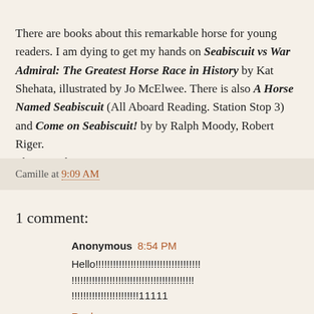There are books about this remarkable horse for young readers. I am dying to get my hands on Seabiscuit vs War Admiral: The Greatest Horse Race in History by Kat Shehata, illustrated by Jo McElwee. There is also A Horse Named Seabiscuit (All Aboard Reading. Station Stop 3) and Come on Seabiscuit! by by Ralph Moody, Robert Riger.
I have Seabiscuit Fever!
Camille at 9:09 AM
1 comment:
Anonymous 8:54 PM
Hello!!!!!!!!!!!!!!!!!!!!!!!!!!!!!!!!!!!!!!!!!!!!!!!!!!!!!!!!!!!!!!!!!!!!!!!!!!!!!11111
Reply